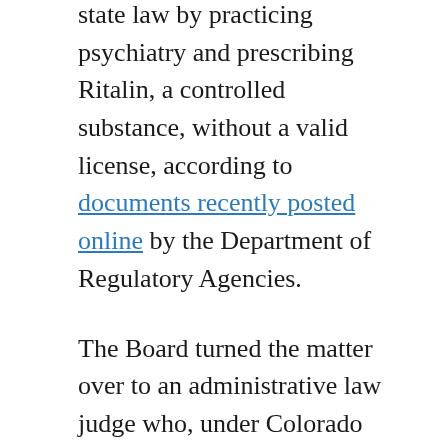state law by practicing psychiatry and prescribing Ritalin, a controlled substance, without a valid license, according to documents recently posted online by the Department of Regulatory Agencies.
The Board turned the matter over to an administrative law judge who, under Colorado law, can take evidence and make findings for the Board.
Neligh was notified of the legal proceedings, but failed to respond to the complaint and failed to appear at the proceedings.  By default, he is deemed to have admitted the allegations.
The administrative law judge found that Neligh...